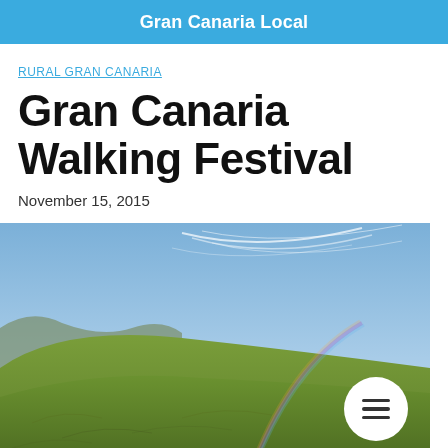Gran Canaria Local
RURAL GRAN CANARIA
Gran Canaria Walking Festival
November 15, 2015
[Figure (photo): Wide landscape photo of green rolling hills in Gran Canaria under a blue sky with wispy white clouds and a faint rainbow arc, with small figures of walkers visible at the bottom. A hamburger menu icon is overlaid in a white circle at the bottom right.]